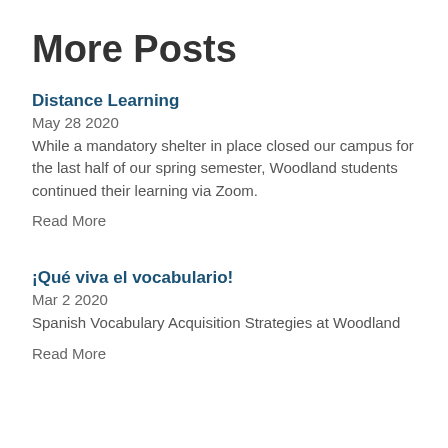More Posts
Distance Learning
May 28 2020
While a mandatory shelter in place closed our campus for the last half of our spring semester, Woodland students continued their learning via Zoom.
Read More
¡Qué viva el vocabulario!
Mar 2 2020
Spanish Vocabulary Acquisition Strategies at Woodland
Read More